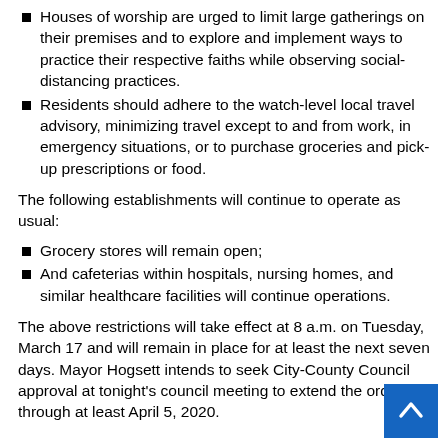Houses of worship are urged to limit large gatherings on their premises and to explore and implement ways to practice their respective faiths while observing social-distancing practices.
Residents should adhere to the watch-level local travel advisory, minimizing travel except to and from work, in emergency situations, or to purchase groceries and pick-up prescriptions or food.
The following establishments will continue to operate as usual:
Grocery stores will remain open;
And cafeterias within hospitals, nursing homes, and similar healthcare facilities will continue operations.
The above restrictions will take effect at 8 a.m. on Tuesday, March 17 and will remain in place for at least the next seven days. Mayor Hogsett intends to seek City-County Council approval at tonight’s council meeting to extend the order through at least April 5, 2020.